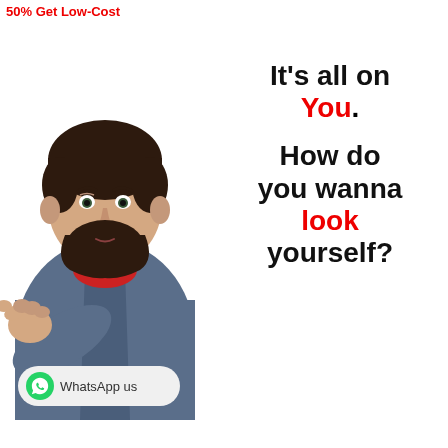50% Get Low-Cost
[Figure (illustration): Illustrated man with beard wearing blue hoodie with red collar, pointing finger at viewer]
It's all on You. How do you wanna look yourself?
WhatsApp us